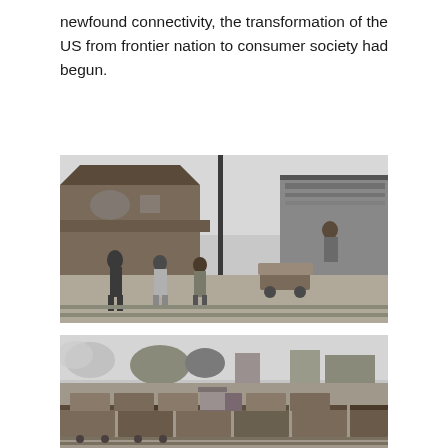newfound connectivity, the transformation of the US from frontier nation to consumer society had begun.
[Figure (photo): Black and white historical photograph of a railroad station platform. People with luggage walk along the platform beside a steam train. A train depot building is visible in the background on the left. Workers are loading or unloading cargo from the train.]
[Figure (photo): Black and white historical photograph of a railroad freight yard. Multiple rows of freight/boxcars are visible on parallel tracks. Buildings and trees are visible in the background. Steam or smoke is visible on the left side.]